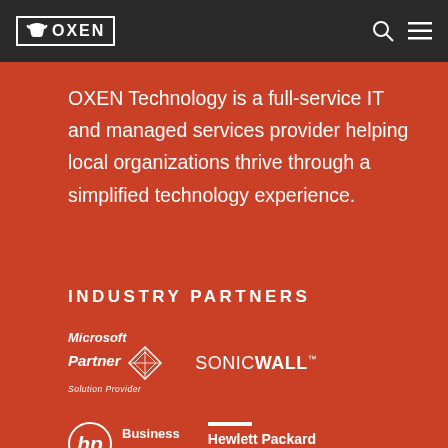[Figure (logo): OXEN Technology logo in nav bar, white text with ox graphic in bordered box]
OXEN Technology is a full-service IT and managed services provider helping local organizations thrive through a simplified technology experience.
INDUSTRY PARTNERS
[Figure (logo): Microsoft Partner Solution Provider logo]
[Figure (logo): SonicWall logo]
[Figure (logo): HP Business Partner logo]
[Figure (logo): Hewlett Packard Enterprise logo]